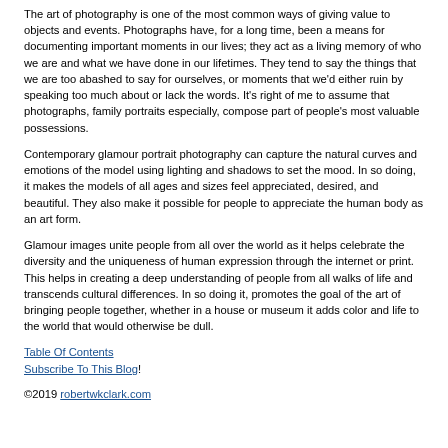The art of photography is one of the most common ways of giving value to objects and events. Photographs have, for a long time, been a means for documenting important moments in our lives; they act as a living memory of who we are and what we have done in our lifetimes. They tend to say the things that we are too abashed to say for ourselves, or moments that we'd either ruin by speaking too much about or lack the words. It's right of me to assume that photographs, family portraits especially, compose part of people's most valuable possessions.
Contemporary glamour portrait photography can capture the natural curves and emotions of the model using lighting and shadows to set the mood. In so doing, it makes the models of all ages and sizes feel appreciated, desired, and beautiful. They also make it possible for people to appreciate the human body as an art form.
Glamour images unite people from all over the world as it helps celebrate the diversity and the uniqueness of human expression through the internet or print. This helps in creating a deep understanding of people from all walks of life and transcends cultural differences. In so doing it, promotes the goal of the art of bringing people together, whether in a house or museum it adds color and life to the world that would otherwise be dull.
Table Of Contents
Subscribe To This Blog!
©2019 robertwkclark.com